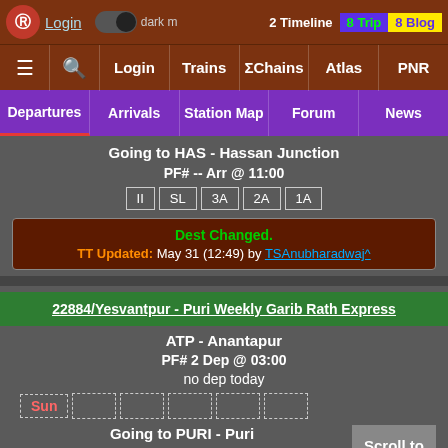Login | dark mode | 2 Timeline | 8 Trip | 8 Blog
≡ 🔍 Login | Trains | ΣChains | Atlas | PNR
Departures | Arrivals | Station Map | Forum | News
Going to HAS - Hassan Junction
PF# -- Arr @ 11:00
II | SL | 3A | 2A | 1A
Dest Changed.
TT Updated: May 31 (12:49) by TSAnubharadwaj^
22884/Yesvantpur - Puri Weekly Garib Rath Express
ATP - Anantapur
PF# 2 Dep @ 03:00
no dep today
Sun
Going to PURI - Puri
PF# 1 Arr @ 03:55
3A
Scroll to Top